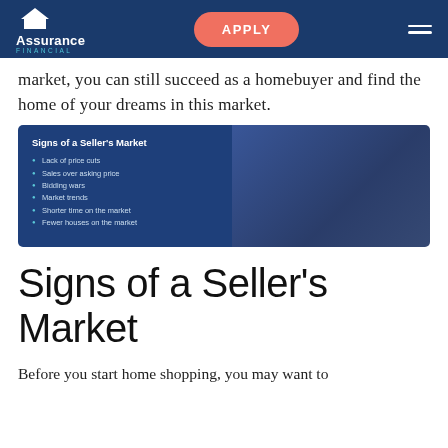Assurance Financial — APPLY
market, you can still succeed as a homebuyer and find the home of your dreams in this market.
[Figure (infographic): Infographic with dark blue background showing 'Signs of a Seller's Market' with bullet points: Lack of price cuts, Sales over asking price, Bidding wars, Market trends, Shorter time on the market, Fewer houses on the market. Right half shows a darkened room photo overlay.]
Signs of a Seller's Market
Before you start home shopping, you may want to